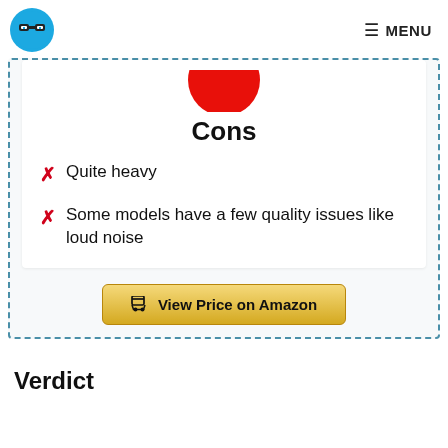MENU
[Figure (illustration): Red thumbs-down icon (partially cropped at top), part of a pros/cons review card]
Cons
Quite heavy
Some models have a few quality issues like loud noise
View Price on Amazon
Verdict